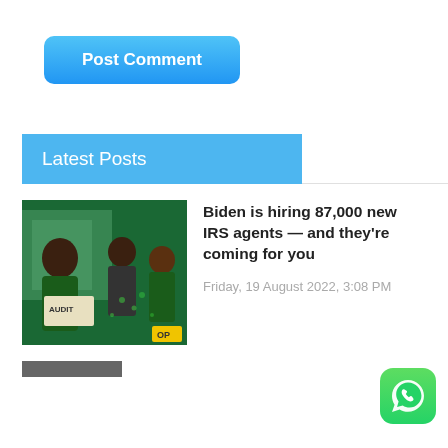Post Comment
Latest Posts
[Figure (photo): Group of people in a meeting or protest scene, green-tinted image, with a yellow 'OP' badge in bottom right corner]
Biden is hiring 87,000 new IRS agents — and they're coming for you
Friday, 19 August 2022, 3:08 PM
[Figure (logo): WhatsApp logo icon — green rounded square with white phone icon]